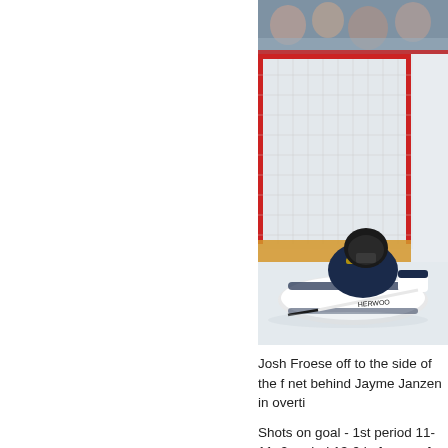[Figure (photo): A hockey goaltender in dark blue and yellow uniform diving/sprawling on the ice in front of a red goal net. Spectators are visible through the glass in the background. The goalie's equipment includes white pads with 'HERWOOD' visible on the stick/equipment.]
Josh Froese off to the side of the net behind Jayme Janzen in overti...
Shots on goal - 1st period 11-11, 2... period 13-9 in favour of the Maroo... in favour of the Maroons.